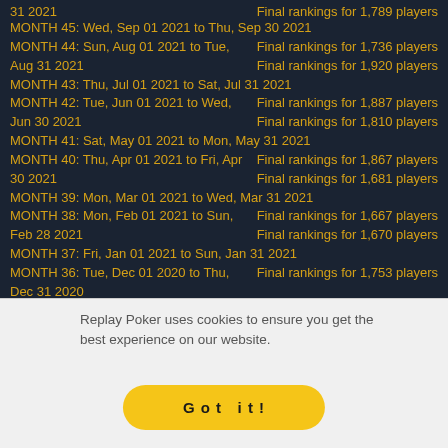31 2021   Final rankings for 1,789 players
MONTH 45: Wed, Sep 01 2021 to Thu, Sep 30 2021
MONTH 44: Sun, Aug 01 2021 to Tue, Aug 31 2021   Final rankings for 1,736 players
Final rankings for 1,920 players
MONTH 43: Thu, Jul 01 2021 to Sat, Jul 31 2021
MONTH 42: Tue, Jun 01 2021 to Wed, Jun 30 2021   Final rankings for 1,887 players
Final rankings for 1,810 players
MONTH 41: Sat, May 01 2021 to Mon, May 31 2021
MONTH 40: Thu, Apr 01 2021 to Fri, Apr 30 2021   Final rankings for 1,867 players
Final rankings for 1,681 players
MONTH 39: Mon, Mar 01 2021 to Wed, Mar 31 2021
MONTH 38: Mon, Feb 01 2021 to Sun, Feb 28 2021   Final rankings for 1,667 players
Final rankings for 1,670 players
MONTH 37: Fri, Jan 01 2021 to Sun, Jan 31 2021
MONTH 36: Tue, Dec 01 2020 to Thu, Dec 31 2020   Final rankings for 1,753 players
Replay Poker uses cookies to ensure you get the best experience on our website.